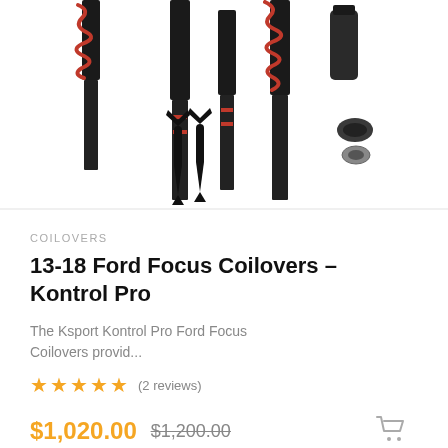[Figure (photo): Photo of coilover suspension kit components laid out on white background — shock absorbers, springs, and hardware parts]
COILOVERS
13-18 Ford Focus Coilovers – Kontrol Pro
The Ksport Kontrol Pro Ford Focus Coilovers provid...
★★★★★ (2 reviews)
$1,020.00  $1,200.00